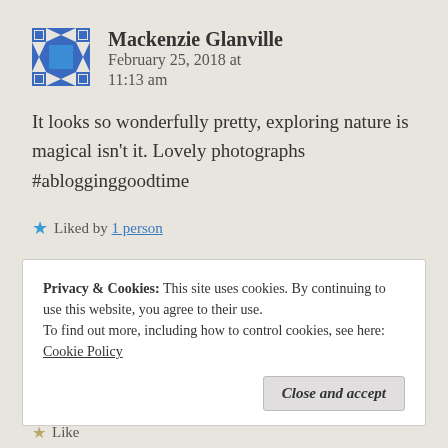[Figure (illustration): Avatar icon for Mackenzie Glanville — blue and white quilt-pattern square avatar]
Mackenzie Glanville   February 25, 2018 at 11:13 am
It looks so wonderfully pretty, exploring nature is magical isn't it. Lovely photographs #ablogginggoodtime
★ Liked by 1 person
Reply
Privacy & Cookies: This site uses cookies. By continuing to use this website, you agree to their use.
To find out more, including how to control cookies, see here: Cookie Policy
Close and accept
★ Like